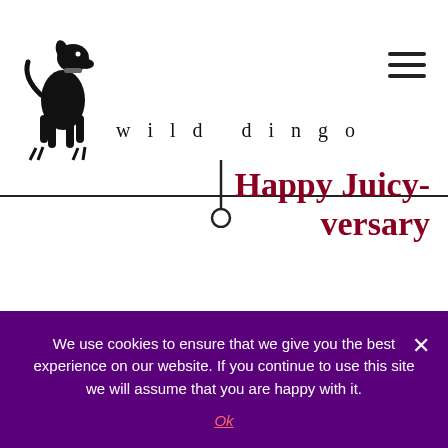[Figure (logo): Wild Dingo logo: stylized black dog silhouette with the text 'wild dingo' in spaced serif letters, with a leash hanging below]
Happy Juicy-versary
anniversary? Pshaw! Netur! We had a lovely anniversary celebration at one of Juicy's favorite training locations when she was a wee puppy, the beach. It was lovely reminiscing all the times she took off from a down stay with the cracker in hot pursuit
We use cookies to ensure that we give you the best experience on our website. If you continue to use this site we will assume that you are happy with it. Ok